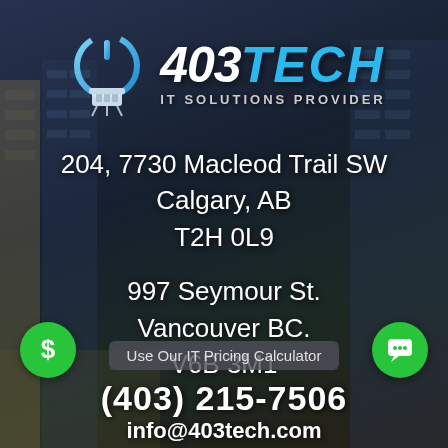[Figure (logo): 403TECH IT Solutions Provider logo with blue power/ethernet icon and stylized text]
204, 7730 Macleod Trail SW
Calgary, AB
T2H 0L9
997 Seymour St.
Vancouver BC.
V6B 3M1
Use Our IT Pricing Calculator
(403) 215-7506
info@403tech.com